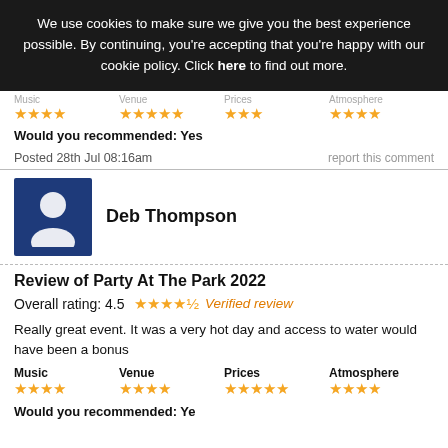We use cookies to make sure we give you the best experience possible. By continuing, you're accepting that you're happy with our cookie policy. Click here to find out more.
[Figure (other): Star ratings row for Music (4 stars), Venue (5 stars), Prices (3 stars), Atmosphere (4 stars) - partially visible at top of page]
Would you recommended: Yes
Posted 28th Jul 08:16am
report this comment
[Figure (photo): Blue square avatar with white silhouette of a person]
Deb Thompson
Review of Party At The Park 2022
Overall rating: 4.5  Verified review
Really great event. It was a very hot day and access to water would have been a bonus
Music  Venue  Prices  Atmosphere
Would you recommended: Yes (partially visible)